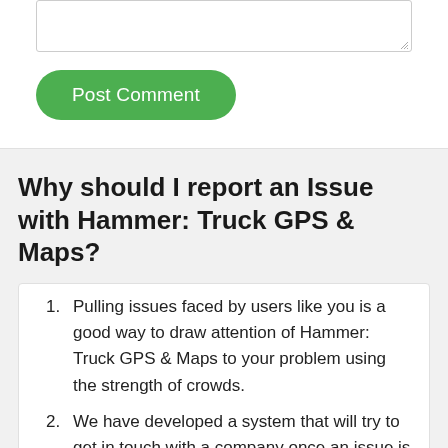[Figure (screenshot): A textarea input box with a resize handle in the bottom-right corner]
Post Comment
Why should I report an Issue with Hammer: Truck GPS & Maps?
Pulling issues faced by users like you is a good way to draw attention of Hammer: Truck GPS & Maps to your problem using the strength of crowds.
We have developed a system that will try to get in touch with a company once an issue is reported and with lots of issues reported, companies will definitely listen.